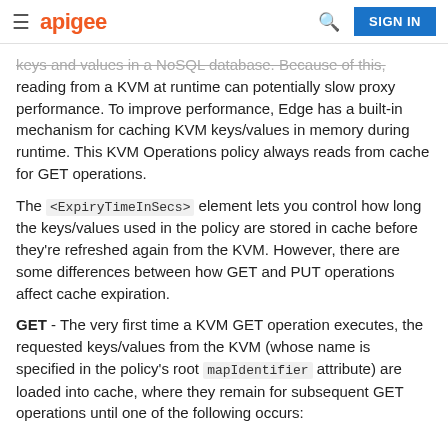apigee — SIGN IN
keys and values in a NoSQL database. Because of this, reading from a KVM at runtime can potentially slow proxy performance. To improve performance, Edge has a built-in mechanism for caching KVM keys/values in memory during runtime. This KVM Operations policy always reads from cache for GET operations.
The <ExpiryTimeInSecs> element lets you control how long the keys/values used in the policy are stored in cache before they're refreshed again from the KVM. However, there are some differences between how GET and PUT operations affect cache expiration.
GET - The very first time a KVM GET operation executes, the requested keys/values from the KVM (whose name is specified in the policy's root mapIdentifier attribute) are loaded into cache, where they remain for subsequent GET operations until one of the following occurs: